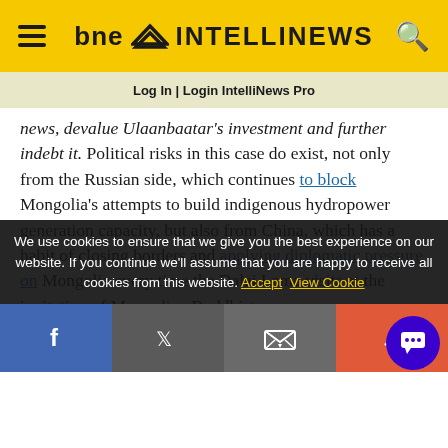bne INTELLINEWS
Log In | Login IntelliNews Pro
news, devalue Ulaanbaatar's investment and further indebt it. Political risks in this case do exist, not only from the Russian side, which continues to block Mongolia's attempts to build indigenous hydropower generation capacity, but also from China, which has a habit of closing borders and applying diplomatic pressure on Mongolia every time the Dalai Lama visits at the invitation of Mongolian Buddhists.
With the energy exports to the Western countries
We use cookies to ensure that we give you the best experience on our website. If you continue we'll assume that you are happy to receive all cookies from this website. Accept  View Cookie